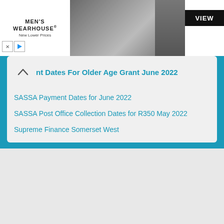[Figure (screenshot): Men's Wearhouse advertisement banner with couple in wedding attire and VIEW button]
nt Dates For Older Age Grant June 2022
SASSA Payment Dates for June 2022
SASSA Post Office Collection Dates for R350 May 2022
Supreme Finance Somerset West